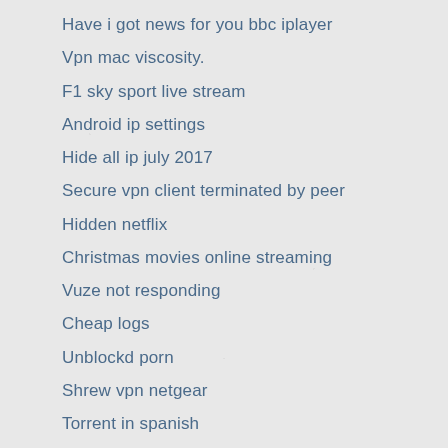Have i got news for you bbc iplayer
Vpn mac viscosity.
F1 sky sport live stream
Android ip settings
Hide all ip july 2017
Secure vpn client terminated by peer
Hidden netflix
Christmas movies online streaming
Vuze not responding
Cheap logs
Unblockd porn
Shrew vpn netgear
Torrent in spanish
How to make new account on instagram
Pan source code